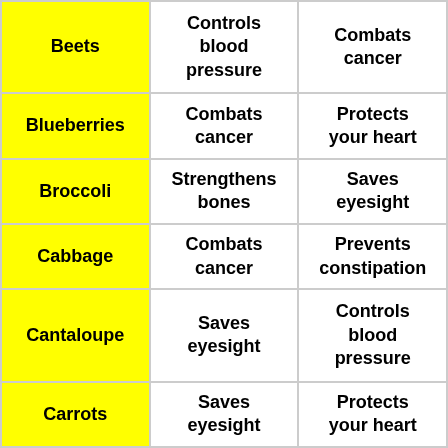| Beets | Controls blood pressure | Combats cancer |
| Blueberries | Combats cancer | Protects your heart |
| Broccoli | Strengthens bones | Saves eyesight |
| Cabbage | Combats cancer | Prevents constipation |
| Cantaloupe | Saves eyesight | Controls blood pressure |
| Carrots | Saves eyesight | Protects your heart |